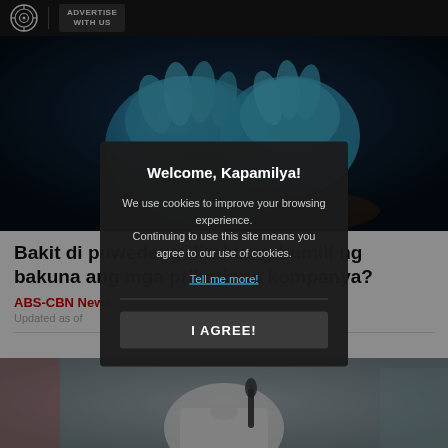ABS-CBN | ADVERTISE WITH US
[Figure (photo): Close-up of blue medical/latex gloves against a dark background, likely related to vaccination]
Bakit di puwedeng direktang bumili ng bakuna ang mga pribadong kompanya?
ABS-CBN News
Updated as of
[Figure (photo): Photo of a person in white clothing at a press conference with a microphone]
Welcome, Kapamilya!

We use cookies to improve your browsing experience.
Continuing to use this site means you agree to our use of cookies.

Tell me more!

I AGREE!